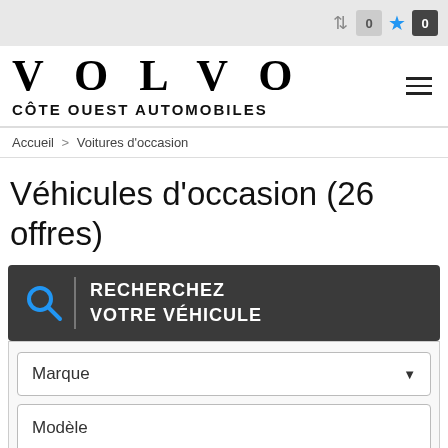0 ★ 0
VOLVO
CÔTE OUEST AUTOMOBILES
Accueil > Voitures d'occasion
Véhicules d'occasion (26 offres)
[Figure (screenshot): Search box with magnifying glass icon and text 'RECHERCHEZ VOTRE VÉHICULE' on dark background]
Marque
Modèle